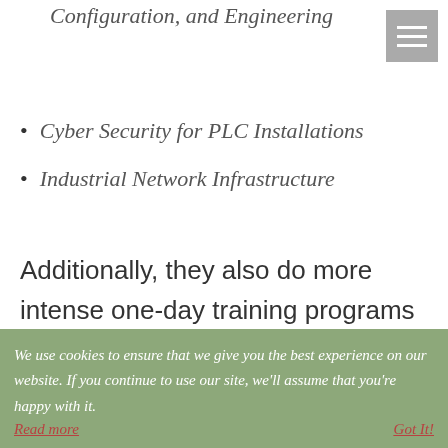Configuration, and Engineering
Cyber Security for PLC Installations
Industrial Network Infrastructure
Additionally, they also do more intense one-day training programs on important subjects. Their next such session in October is “Project Management for Automation and Control System
We use cookies to ensure that we give you the best experience on our website. If you continue to use our site, we’ll assume that you’re happy with it. Read more  Got It!